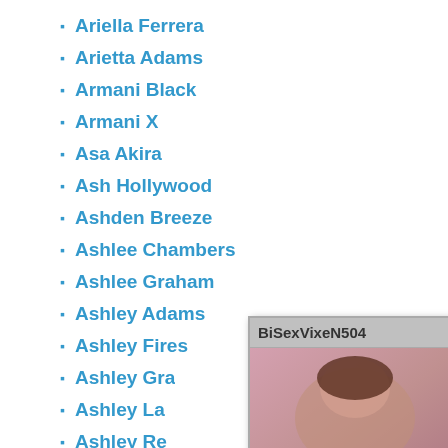Ariella Ferrera
Arietta Adams
Armani Black
Armani X
Asa Akira
Ash Hollywood
Ashden Breeze
Ashlee Chambers
Ashlee Graham
Ashley Adams
Ashley Fires
Ashley Gra...
Ashley La...
Ashley Re...
Ashley Sin...
Ashley Sto...
Ashley Sto...
Ashli Ames...
Ashli Orion...
Ashly Ande...
Ashlyn Mo...
[Figure (screenshot): Chaturbate popup window for user BiSexVixeN504 showing age 26, 2 hrs 8 mins online, 630 Viewers, Add Friend option, and chat interface with message 'Wanna see my new 10 inch toy?? ;-) Hmu!']